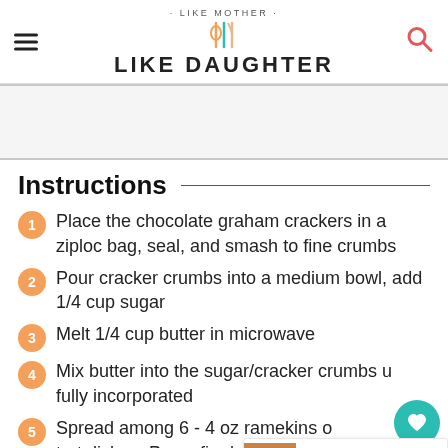· LIKE MOTHER · LIKE DAUGHTER
[Figure (photo): Light gray image placeholder area]
Instructions
Place the chocolate graham crackers in a ziploc bag, seal, and smash to fine crumbs
Pour cracker crumbs into a medium bowl, add 1/4 cup sugar
Melt 1/4 cup butter in microwave
Mix butter into the sugar/cracker crumbs until fully incorporated
Spread among 6 - 4 oz ramekins or tart dishes. Press firmly with a spoon or your fingers to form a crust